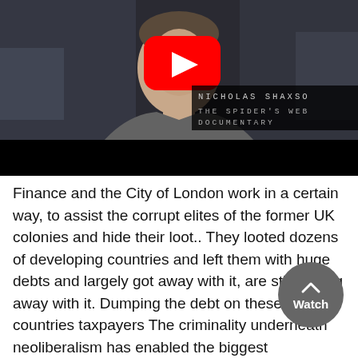[Figure (screenshot): YouTube video thumbnail showing a man in a grey sweater, with a YouTube play button overlay. Text overlay reads 'NICHOLAS SHAXSO' and 'THE SPIDER'S WEB DOCUMENTARY' in monospace font on dark background.]
Finance and the City of London work in a certain way, to assist the corrupt elites of the former UK colonies and hide their loot.. They looted dozens of developing countries and left them with huge debts and largely got away with it, are still getting away with it. Dumping the debt on these countries taxpayers The criminality underneath neoliberalism has enabled the biggest imaginable thefts.. . Watch the videos..